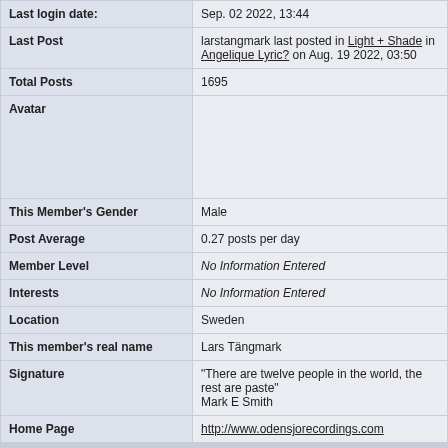| Field | Value |
| --- | --- |
| Last login date: | Sep. 02 2022, 13:44 |
| Last Post | larstangmark last posted in Light + Shade in Angelique Lyric? on Aug. 19 2022, 03:50 |
| Total Posts | 1695 |
| Avatar |  |
| This Member's Gender | Male |
| Post Average | 0.27 posts per day |
| Member Level | No Information Entered |
| Interests | No Information Entered |
| Location | Sweden |
| This member's real name | Lars Tängmark |
| Signature | "There are twelve people in the world, the rest are paste"
Mark E Smith |
| Home Page | http://www.odensjorecordings.com |
| Contact Details |  |
| Email Address | Send larstangmark an email |
| AOLAIM Name | No Information Entered |
| ICQ Number | No Information Entered |